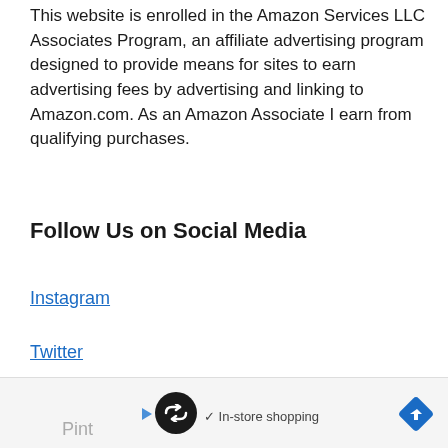This website is enrolled in the Amazon Services LLC Associates Program, an affiliate advertising program designed to provide means for sites to earn advertising fees by advertising and linking to Amazon.com. As an Amazon Associate I earn from qualifying purchases.
Follow Us on Social Media
Instagram
Twitter
Facebook
[Figure (other): Advertisement banner at bottom of page showing a circular logo with looping arrows, a play button, a checkmark with 'In-store shopping' text, and a blue diamond arrow icon. Partial text 'Pint' visible on far left.]